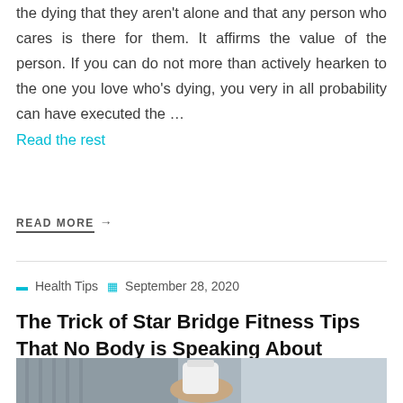the dying that they aren't alone and that any person who cares is there for them. It affirms the value of the person. If you can do not more than actively hearken to the one you love who's dying, you very in all probability can have executed the …
Read the rest
READ MORE →
Health Tips   September 28, 2020
The Trick of Star Bridge Fitness Tips That No Body is Speaking About
[Figure (photo): Photo showing a person in a lab coat holding a white medicine bottle, with another person visible in the background wearing a striped shirt.]